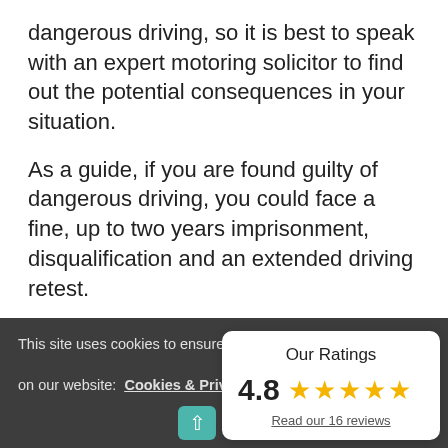dangerous driving, so it is best to speak with an expert motoring solicitor to find out the potential consequences in your situation.
As a guide, if you are found guilty of dangerous driving, you could face a fine, up to two years imprisonment, disqualification and an extended driving retest.
Why instruct Richard Silver Solicitors?
This site uses cookies to ensure  on our website: Cookies & Priva
Reject Coo
Our Ratings 4.8 ★★★★★ Read our 16 reviews